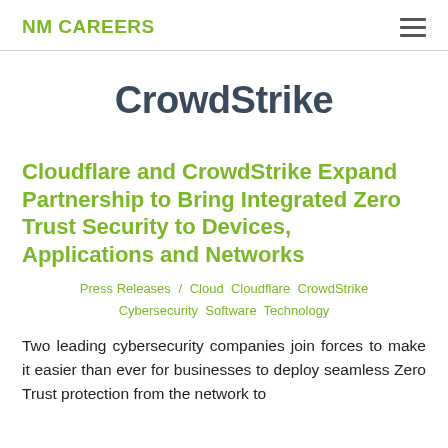NM CAREERS
CrowdStrike
Cloudflare and CrowdStrike Expand Partnership to Bring Integrated Zero Trust Security to Devices, Applications and Networks
Press Releases / Cloud Cloudflare CrowdStrike Cybersecurity Software Technology
Two leading cybersecurity companies join forces to make it easier than ever for businesses to deploy seamless Zero Trust protection from the network to